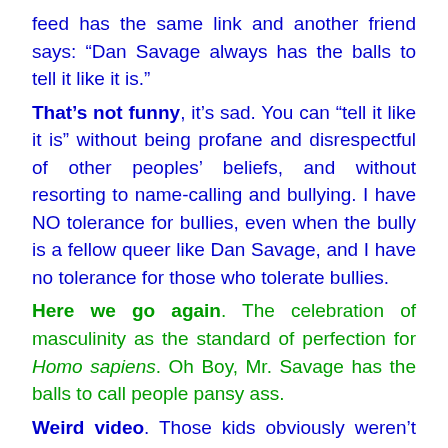feed has the same link and another friend says: “Dan Savage always has the balls to tell it like it is.”
That’s not funny, it’s sad. You can “tell it like it is” without being profane and disrespectful of other peoples’ beliefs, and without resorting to name-calling and bullying. I have NO tolerance for bullies, even when the bully is a fellow queer like Dan Savage, and I have no tolerance for those who tolerate bullies.
Here we go again. The celebration of masculinity as the standard of perfection for Homo sapiens. Oh Boy, Mr. Savage has the balls to call people pansy ass.
Weird video. Those kids obviously weren’t just offended in the moment. They seemed to be smirking as if their march out was some sort of pre-planned event.
This thought occurred to PG. The walkout began before the comment about BS. A lot of the people in the audience